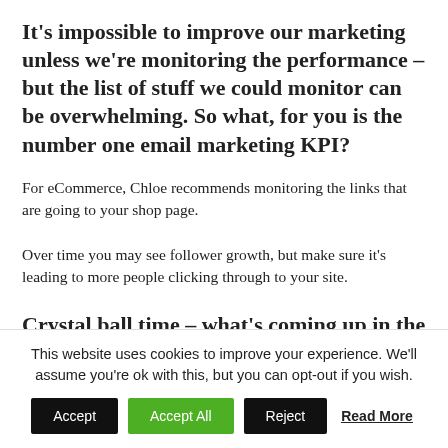It's impossible to improve our marketing unless we're monitoring the performance – but the list of stuff we could monitor can be overwhelming. So what, for you is the number one email marketing KPI?
For eCommerce, Chloe recommends monitoring the links that are going to your shop page.
Over time you may see follower growth, but make sure it's leading to more people clicking through to your site.
Crystal ball time – what's coming up in the next 6-12 months that we should be getting ready for in email marketing?
This website uses cookies to improve your experience. We'll assume you're ok with this, but you can opt-out if you wish.